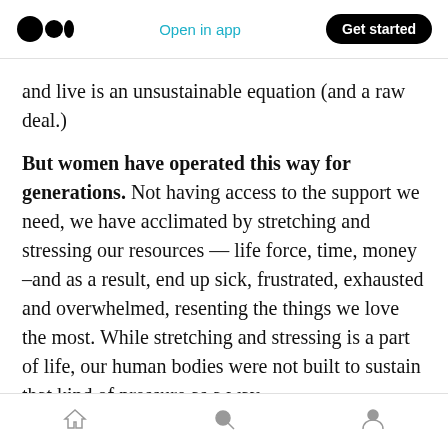Medium logo | Open in app | Get started
and live is an unsustainable equation (and a raw deal.)
But women have operated this way for generations. Not having access to the support we need, we have acclimated by stretching and stressing our resources — life force, time, money –and as a result, end up sick, frustrated, exhausted and overwhelmed, resenting the things we love the most. While stretching and stressing is a part of life, our human bodies were not built to sustain that kind of pressure as a way
Home | Search | Profile